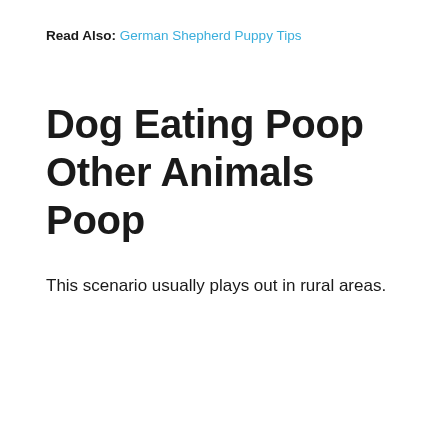Read Also: German Shepherd Puppy Tips
Dog Eating Poop Other Animals Poop
This scenario usually plays out in rural areas.